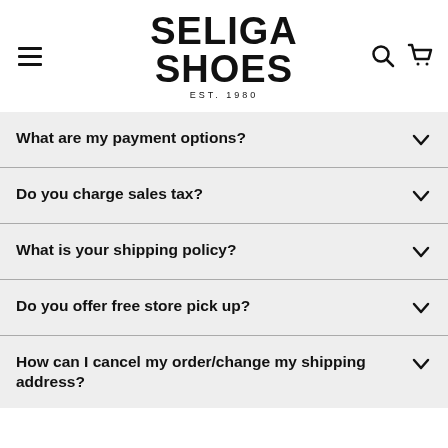[Figure (logo): Seliga Shoes logo with bold black text reading SELIGA SHOES and EST. 1980 below]
What are my payment options?
Do you charge sales tax?
What is your shipping policy?
Do you offer free store pick up?
How can I cancel my order/change my shipping address?